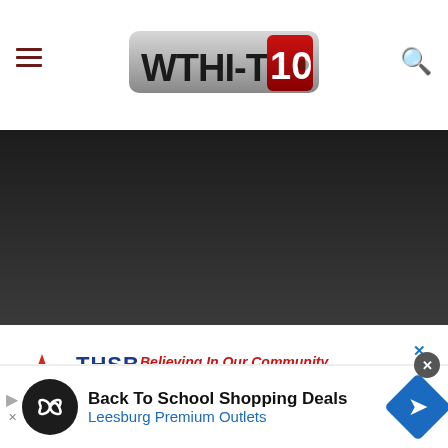WTHI-TV 10 navigation header with hamburger menu and search icon
[Figure (screenshot): Dark video placeholder area below the navigation header]
[Figure (infographic): THSB bank advertisement: star logo, THSB Believing In Our Community, thsb.com, with close X button]
[Figure (infographic): Bottom advertisement bar: Back To School Shopping Deals - Leesburg Premium Outlets, with play/close controls and blue diamond arrow icon]